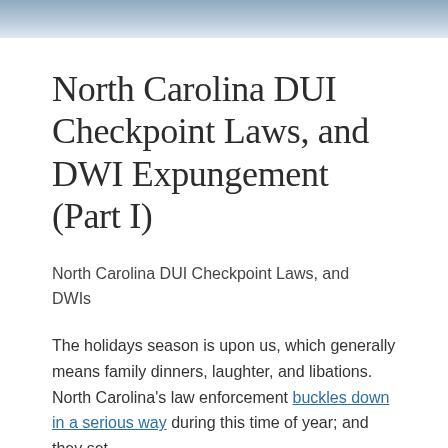[Figure (photo): Blurred header image with blue-gray tones, likely an outdoor/sky scene]
North Carolina DUI Checkpoint Laws, and DWI Expungement (Part I)
North Carolina DUI Checkpoint Laws, and DWIs
The holidays season is upon us, which generally means family dinners, laughter, and libations. North Carolina's law enforcement buckles down in a serious way during this time of year; and they set